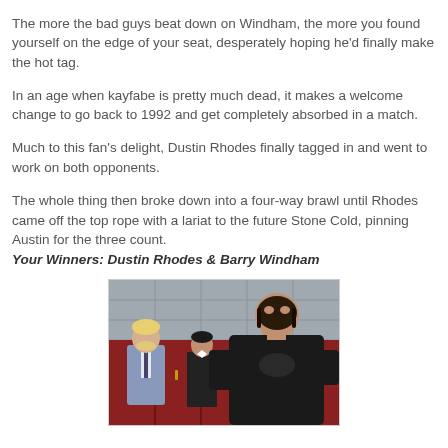The more the bad guys beat down on Windham, the more you found yourself on the edge of your seat, desperately hoping he'd finally make the hot tag.
In an age when kayfabe is pretty much dead, it makes a welcome change to go back to 1992 and get completely absorbed in a match.
Much to this fan's delight, Dustin Rhodes finally tagged in and went to work on both opponents.
The whole thing then broke down into a four-way brawl until Rhodes came off the top rope with a lariat to the future Stone Cold, pinning Austin for the three count.
Your Winners: Dustin Rhodes & Barry Windham
[Figure (photo): A photo showing Barry Windham and other wrestlers/staff in what appears to be a locker room setting. A large wrestler in a black singlet with a face mask is prominently featured in the foreground.]